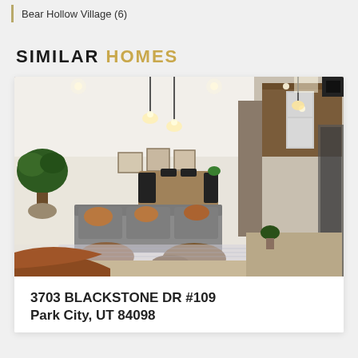Bear Hollow Village (6)
SIMILAR HOMES
[Figure (photo): Interior living room photo showing open-plan space with gray sofa, leather chairs, coffee tables, dining area, pendant lights, potted plant, and kitchen visible in background.]
3703 BLACKSTONE DR #109
Park City, UT 84098